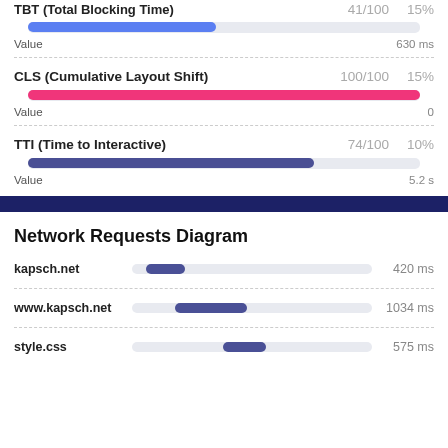TBT (Total Blocking Time) — 41/100 — 15%
[Figure (other): Blue horizontal progress bar, approximately 48% filled]
Value  630 ms
CLS (Cumulative Layout Shift)  100/100  15%
[Figure (other): Pink/magenta full horizontal progress bar, 100% filled]
Value  0
TTI (Time to Interactive)  74/100  10%
[Figure (other): Dark blue-gray horizontal progress bar, approximately 73% filled]
Value  5.2 s
Network Requests Diagram
kapsch.net  420 ms
www.kapsch.net  1034 ms
style.css  575 ms